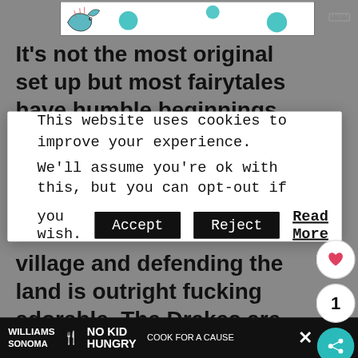[Figure (illustration): Cartoon illustration of a dragon/creature with teal circles on a white background with black border, partial view at top of page]
It’s not the most original set up but most fairytales have humble beginnings and Drake Hollow feels oddly familiar to those stories
This website uses cookies to improve your experience.

We’ll assume you’re ok with this, but you can opt-out if you wish.
Accept  Reject  Read More
village and defending the land is outright fucking adorable. The Drakes are somewhat between Pokemon and Pikmin, just individual
[Figure (screenshot): Bottom advertisement bar: Williams Sonoma - No Kid Hungry - Cook for a Cause, with food images and close button]